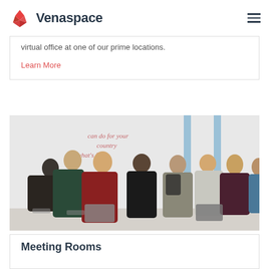Venaspace
virtual office at one of our prime locations.
Learn More
[Figure (photo): Group of young people seated in a meeting/event room, some with laptops, with motivational text on the wall behind them]
Meeting Rooms